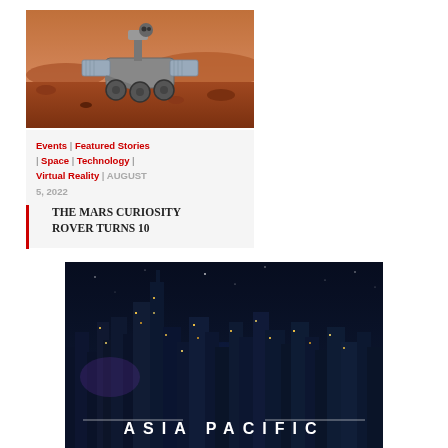[Figure (photo): Mars rover on reddish Martian surface with rocky terrain and sky in background]
Events | Featured Stories | Space | Technology | Virtual Reality | AUGUST 5, 2022
THE MARS CURIOSITY ROVER TURNS 10
[Figure (photo): Dark nighttime cityscape with tall buildings and lights, with 'ASIA PACIFIC' text overlay]